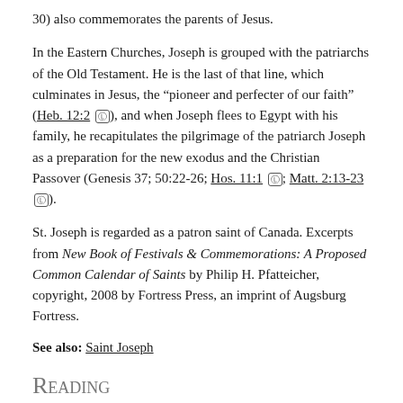30) also commemorates the parents of Jesus.
In the Eastern Churches, Joseph is grouped with the patriarchs of the Old Testament. He is the last of that line, which culminates in Jesus, the “pioneer and perfecter of our faith” (Heb. 12:2 Ⓛ), and when Joseph flees to Egypt with his family, he recapitulates the pilgrimage of the patriarch Joseph as a preparation for the new exodus and the Christian Passover (Genesis 37; 50:22-26; Hos. 11:1 Ⓛ; Matt. 2:13-23 Ⓛ).
St. Joseph is regarded as a patron saint of Canada. Excerpts from New Book of Festivals & Commemorations: A Proposed Common Calendar of Saints by Philip H. Pfatteicher, copyright, 2008 by Fortress Press, an imprint of Augsburg Fortress.
See also: Saint Joseph
Reading
From a sermon by Bernardine